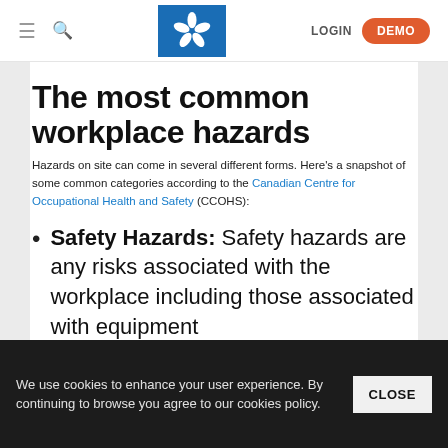LOGIN DEMO
The most common workplace hazards
Hazards on site can come in several different forms. Here's a snapshot of some common categories according to the Canadian Centre for Occupational Health and Safety (CCOHS):
Safety Hazards: Safety hazards are any risks associated with the workplace including those associated with equipment
We use cookies to enhance your user experience. By continuing to browse you agree to our cookies policy.